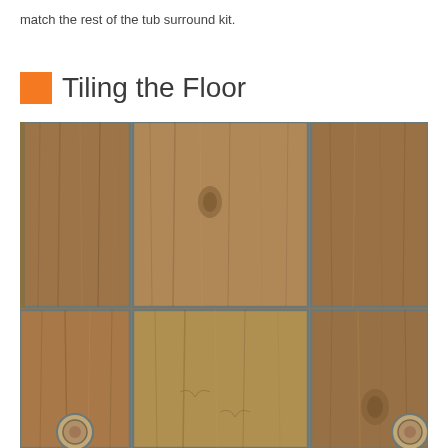match the rest of the tub surround kit.
Tiling the Floor
[Figure (photo): Overhead view of wood-look ceramic floor tiles laid in a staggered pattern with gray grout lines. Two circular pipe cutouts are visible at the bottom of the image.]